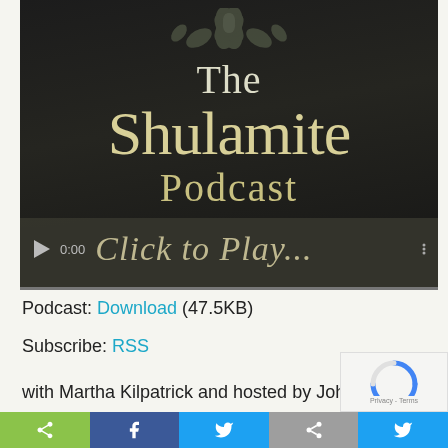[Figure (screenshot): The Shulamite Podcast logo/player screenshot showing dark background with ornate floral design, title text 'The Shulamite Podcast' and a media player bar showing '0:00 Click to Play...']
Podcast: Download (47.5KB)
Subscribe: RSS
with Martha Kilpatrick and hosted by John En...